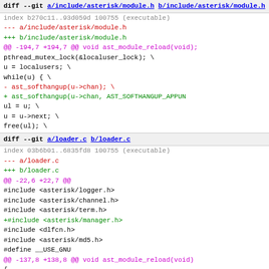diff --git a/include/asterisk/module.h b/include/asterisk/module.h
index b270c11..93d059d 100755 (executable)
--- a/include/asterisk/module.h
+++ b/include/asterisk/module.h
@@ -194,7 +194,7 @@ void ast_module_reload(void);
pthread_mutex_lock(&localuser_lock); \
        u = localusers; \
        while(u) { \
-               ast_softhangup(u->chan); \
+               ast_softhangup(u->chan, AST_SOFTHANGUP_APPUN
               ul = u; \
               u = u->next; \
               free(ul); \
diff --git a/loader.c b/loader.c
index 03b6b01..6835fd8 100755 (executable)
--- a/loader.c
+++ b/loader.c
@@ -22,6 +22,7 @@
#include <asterisk/logger.h>
 #include <asterisk/channel.h>
 #include <asterisk/term.h>
+#include <asterisk/manager.h>
 #include <dlfcn.h>
 #include <asterisk/md5.h>
 #define __USE_GNU
@@ -137,8 +138,8 @@ void ast_module_reload(void)
{
        struct module *m;